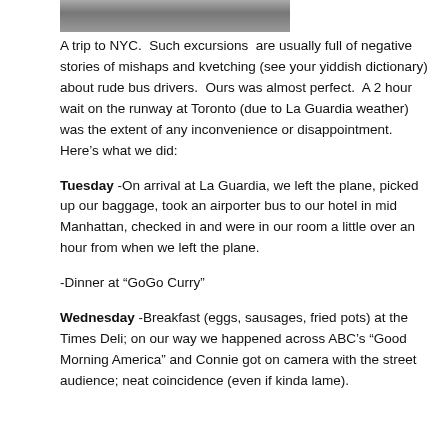[Figure (photo): Partial photo visible at the top of the page, showing people outdoors.]
A trip to NYC.  Such excursions  are usually full of negative stories of mishaps and kvetching (see your yiddish dictionary) about rude bus drivers.  Ours was almost perfect.  A 2 hour wait on the runway at Toronto (due to La Guardia weather) was the extent of any inconvenience or disappointment.  Here’s what we did:
Tuesday -On arrival at La Guardia, we left the plane, picked up our baggage, took an airporter bus to our hotel in mid Manhattan, checked in and were in our room a little over an hour from when we left the plane.
-Dinner at “GoGo Curry”
Wednesday -Breakfast (eggs, sausages, fried pots) at the Times Deli; on our way we happened across ABC’s “Good Morning America” and Connie got on camera with the street audience; neat coincidence (even if kinda lame).